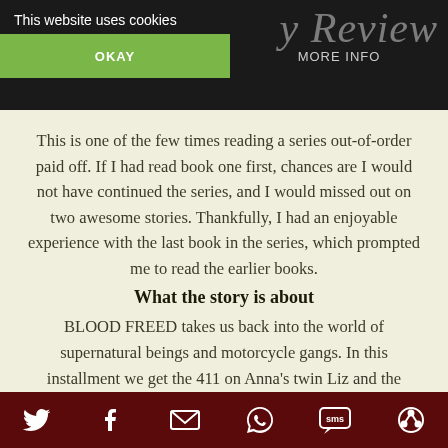This website uses cookies | OKAY | MORE INFO
This is one of the few times reading a series out-of-order paid off. If I had read book one first, chances are I would not have continued the series, and I would missed out on two awesome stories. Thankfully, I had an enjoyable experience with the last book in the series, which prompted me to read the earlier books.
What the story is about
BLOOD FREED takes us back into the world of supernatural beings and motorcycle gangs. In this installment we get the 411 on Anna’s twin Liz and the werewolf Dexter MacCallahan. Liz is geared to take up her
Social share icons: Twitter, Facebook, Email, WhatsApp, SMS, Other